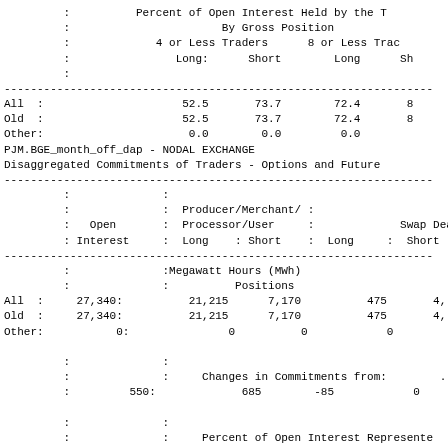|  | 4 or Less Traders Long | 4 or Less Traders Short | 8 or Less Traders Long | 8 or Less Traders Short |
| --- | --- | --- | --- | --- |
| All | 52.5 | 73.7 | 72.4 | 8... |
| Old | 52.5 | 73.7 | 72.4 | 8... |
| Other | 0.0 | 0.0 | 0.0 |  |
PJM.BGE_month_off_dap - NODAL EXCHANGE
Disaggregated Commitments of Traders - Options and Futures
|  | Open Interest | Producer/Merchant/Processor/User Long | Producer/Merchant/Processor/User Short | Long | Swap Dealer Short |
| --- | --- | --- | --- | --- | --- |
|  |  | Megawatt Hours (MWh) |  |  |  |
|  |  | Positions |  |  |  |
| All | 27,340 | 21,215 | 7,170 | 475 | 4,... |
| Old | 27,340 | 21,215 | 7,170 | 475 | 4,... |
| Other | 0 | 0 | 0 | 0 |  |
|  |  | Changes in Commitments from: |  |  |  |
|  | 550 | 685 | -85 | 0 |  |
|  |  | Percent of Open Interest Represented |  |  |  |
| All | 100.0 | 77.6 | 26.2 | 1.7 | 1... |
| Old | 100.0 | 77.6 | 26.2 | 1.7 | 1... |
| Other | 100.0 | 0.0 | 0.0 | 0.0 |  |